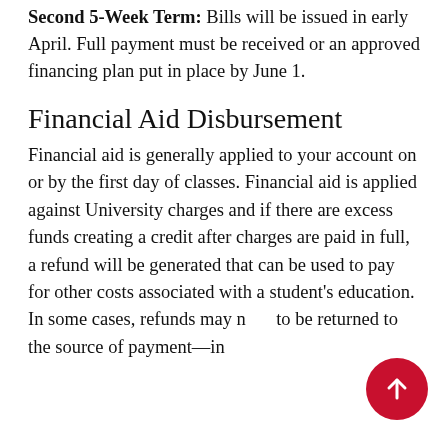Second 5-Week Term: Bills will be issued in early April. Full payment must be received or an approved financing plan put in place by June 1.
Financial Aid Disbursement
Financial aid is generally applied to your account on or by the first day of classes. Financial aid is applied against University charges and if there are excess funds creating a credit after charges are paid in full, a refund will be generated that can be used to pay for other costs associated with a student's education. In some cases, refunds may need to be returned to the source of payment—in